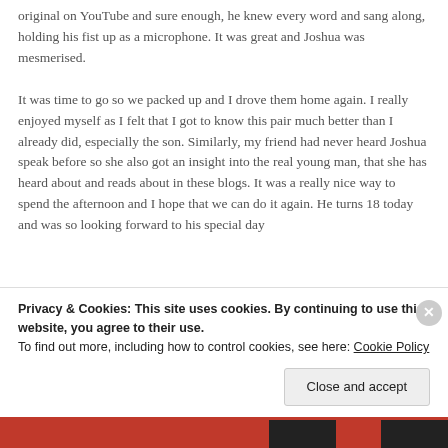original on YouTube and sure enough, he knew every word and sang along, holding his fist up as a microphone. It was great and Joshua was mesmerised.

It was time to go so we packed up and I drove them home again. I really enjoyed myself as I felt that I got to know this pair much better than I already did, especially the son. Similarly, my friend had never heard Joshua speak before so she also got an insight into the real young man, that she has heard about and reads about in these blogs. It was a really nice way to spend the afternoon and I hope that we can do it again. He turns 18 today and was so looking forward to his special day
Privacy & Cookies: This site uses cookies. By continuing to use this website, you agree to their use.
To find out more, including how to control cookies, see here: Cookie Policy
Close and accept